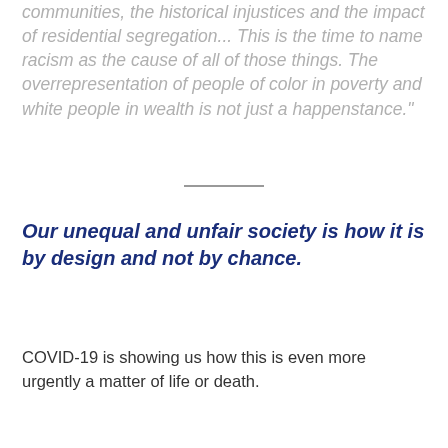communities, the historical injustices and the impact of residential segregation... This is the time to name racism as the cause of all of those things. The overrepresentation of people of color in poverty and white people in wealth is not just a happenstance."
Our unequal and unfair society is how it is by design and not by chance.
COVID-19 is showing us how this is even more urgently a matter of life or death.